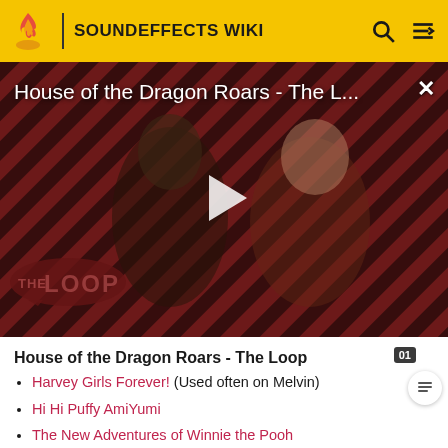SOUNDEFFECTS WIKI
[Figure (screenshot): Video thumbnail for 'House of the Dragon Roars - The L...' showing two characters from House of the Dragon on a diagonal striped red and black background, with a white play button triangle in the center and 'THE LOOP' badge in lower left. A close (X) button is in the upper right.]
House of the Dragon Roars - The Loop
Harvey Girls Forever! (Used often on Melvin)
Hi Hi Puffy AmiYumi
The New Adventures of Winnie the Pooh
New Looney Tunes